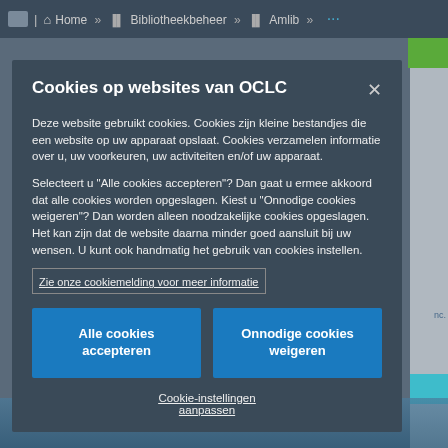[Figure (screenshot): Browser navigation bar showing Home, Bibliotheekbeheer, Amlib breadcrumb navigation with icons]
Cookies op websites van OCLC
Deze website gebruikt cookies. Cookies zijn kleine bestandjes die een website op uw apparaat opslaat. Cookies verzamelen informatie over u, uw voorkeuren, uw activiteiten en/of uw apparaat.
Selecteert u "Alle cookies accepteren"? Dan gaat u ermee akkoord dat alle cookies worden opgeslagen. Kiest u "Onnodige cookies weigeren"? Dan worden alleen noodzakelijke cookies opgeslagen. Het kan zijn dat de website daarna minder goed aansluit bij uw wensen. U kunt ook handmatig het gebruik van cookies instellen.
Zie onze cookiemelding voor meer informatie
Alle cookies accepteren
Onnodige cookies weigeren
Cookie-instellingen aanpassen